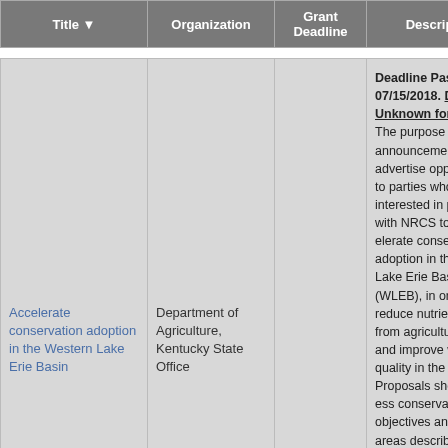| Title | Organization | Grant Deadline | Description |
| --- | --- | --- | --- |
| Accelerate conservation adoption in the Western Lake Erie Basin | Department of Agriculture, Kentucky State Office |  | Deadline Passed 07/15/2018. Deadline Unknown for 2019. The purpose of this announcement is to advertise opportunities to parties who are interested in partnering with NRCS to accelerate conservation adoption in the Western Lake Erie Basin (WLEB), in order to reduce nutrient runoff from agricultural lands and improve water quality in the WLEB. Proposals should address the conservation objectives and focus areas described below. NRCS will accept applications under this notice for multiyear applications (up to three years) submitted by eligible entities based in Indiana or with substantial operations in Indiana. |
|  |  |  | Deadline unknown. The Office of Surface Mining awards grants to States and Tribes to support the operation of SMCRA's State and Tribal abandoned m... |